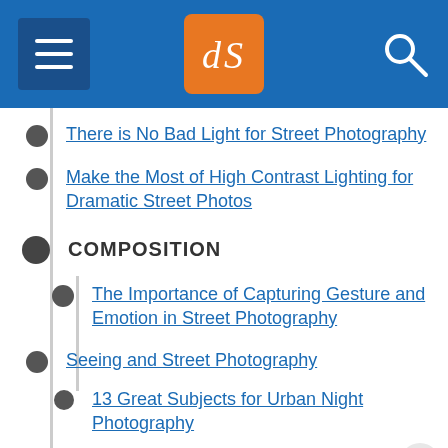[Figure (screenshot): Website header bar with dark blue background, hamburger menu icon on left, dPS logo (orange box with white 'dS' letters) in center, search icon on right]
There is No Bad Light for Street Photography
Make the Most of High Contrast Lighting for Dramatic Street Photos
COMPOSITION
The Importance of Capturing Gesture and Emotion in Street Photography
Seeing and Street Photography
13 Great Subjects for Urban Night Photography
How to Avoid Distracting Backgrounds in